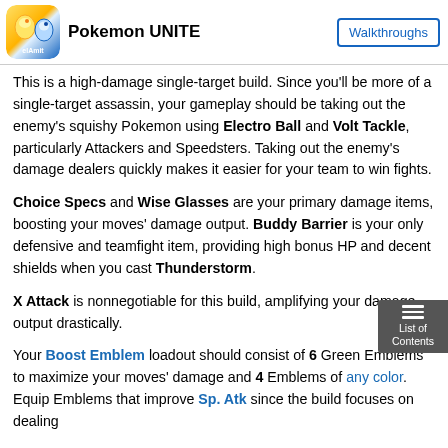Pokemon UNITE | Walkthroughs
This is a high-damage single-target build. Since you'll be more of a single-target assassin, your gameplay should be taking out the enemy's squishy Pokemon using Electro Ball and Volt Tackle, particularly Attackers and Speedsters. Taking out the enemy's damage dealers quickly makes it easier for your team to win fights.
Choice Specs and Wise Glasses are your primary damage items, boosting your moves' damage output. Buddy Barrier is your only defensive and teamfight item, providing high bonus HP and decent shields when you cast Thunderstorm.
X Attack is nonnegotiable for this build, amplifying your damage output drastically.
Your Boost Emblem loadout should consist of 6 Green Emblems to maximize your moves' damage and 4 Emblems of any color. Equip Emblems that improve Sp. Atk since the build focuses on dealing high damage using your moves. Avoid Emblems that give Attack.